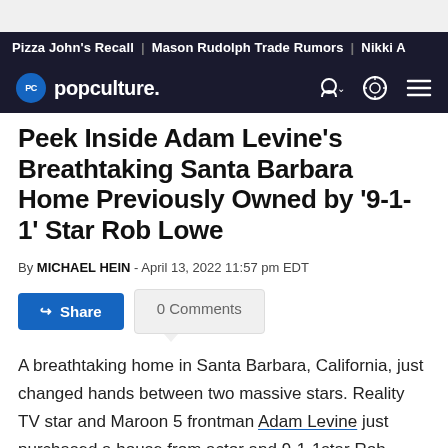Pizza John's Recall | Mason Rudolph Trade Rumors | Nikki A
popculture.
Peek Inside Adam Levine's Breathtaking Santa Barbara Home Previously Owned by '9-1-1' Star Rob Lowe
By MICHAEL HEIN - April 13, 2022 11:57 pm EDT
Share   0 Comments
A breathtaking home in Santa Barbara, California, just changed hands between two massive stars. Reality TV star and Maroon 5 frontman Adam Levine just purchased a house from actor and 9-1-1 star Rob Lowe. The sale made